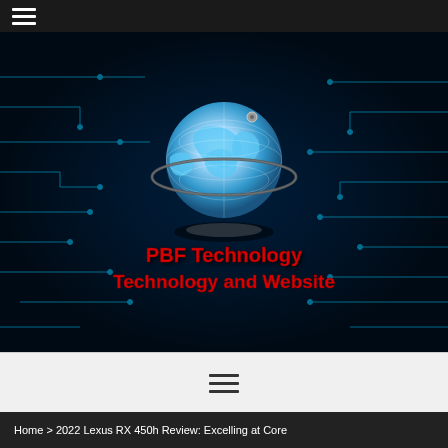Navigation menu (hamburger icon)
[Figure (logo): PBF Technology Technology and Website logo with a globe graphic on a dark blue circuit board background. The globe is rendered in blue and white tones with a dark orbital ring. Below the globe is a shadow/platform. Red bold text reads 'PBF Technology' on one line and 'Technology and Website' on the second line. The background features cyan/teal circuit board trace patterns on the left and right sides.]
Navigation menu (hamburger icon, white background)
Home > 2022 Lexus RX 450h Review: Excelling at Core